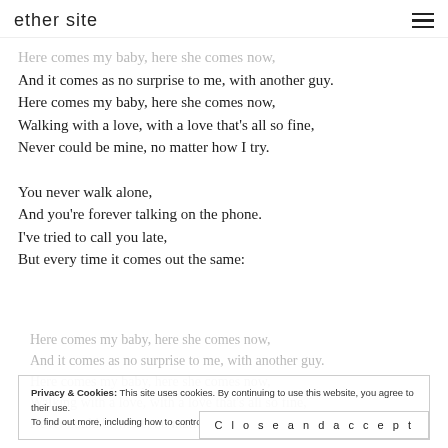ether site
Here comes my baby, here she comes now,
And it comes as no surprise to me, with another guy.
Here comes my baby, here she comes now,
Walking with a love, with a love that's all so fine,
Never could be mine, no matter how I try.
You never walk alone,
And you're forever talking on the phone.
I've tried to call you late,
But every time it comes out the same:
Here comes my baby, here she comes now,
And it comes as no surprise to me, with another guy.
Here comes my baby, here she comes now,
Walking with a love, with a love that's all so fine,
Never could be mine, no matter how I try.
Privacy & Cookies: This site uses cookies. By continuing to use this website, you agree to their use. To find out more, including how to control cookies, see here: Cookie Policy
Close and accept